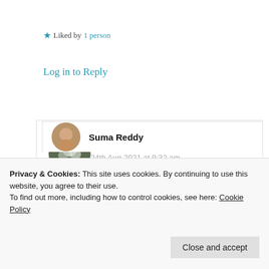Liked by 1 person
Log in to Reply
Imrana News Network
24th Aug 2021 at 9:32 am
Very nice!!
Liked by 4 people
Privacy & Cookies: This site uses cookies. By continuing to use this website, you agree to their use.
To find out more, including how to control cookies, see here: Cookie Policy
Close and accept
Suma Reddy